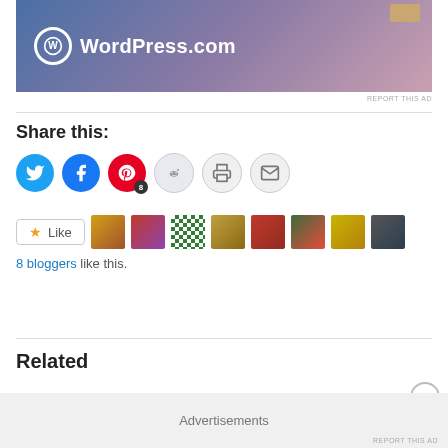[Figure (illustration): WordPress.com advertisement banner with blue-purple gradient background and WordPress logo]
REPORT THIS AD
Share this:
[Figure (illustration): Social sharing icons: Twitter (blue), Facebook (blue), Pinterest (red) with badge 8, Reddit (light), Print (light), Email (light)]
[Figure (illustration): Like button with star icon followed by 8 blogger avatar thumbnails]
8 bloggers like this.
Related
Advertisements